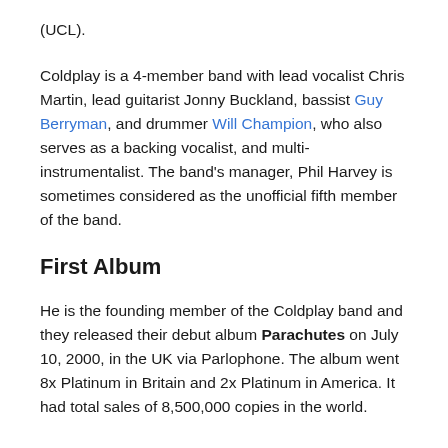(UCL).
Coldplay is a 4-member band with lead vocalist Chris Martin, lead guitarist Jonny Buckland, bassist Guy Berryman, and drummer Will Champion, who also serves as a backing vocalist, and multi-instrumentalist. The band's manager, Phil Harvey is sometimes considered as the unofficial fifth member of the band.
First Album
He is the founding member of the Coldplay band and they released their debut album Parachutes on July 10, 2000, in the UK via Parlophone. The album went 8x Platinum in Britain and 2x Platinum in America. It had total sales of 8,500,000 copies in the world.